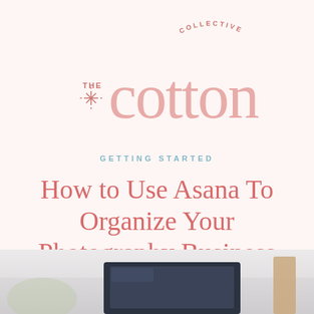[Figure (logo): The Cotton Collective logo with decorative sunburst icon, large pink 'cotton' text, smaller 'THE' label, and 'COLLECTIVE' text arranged in an arc]
GETTING STARTED
How to Use Asana To Organize Your Photography Business
[Figure (photo): Blurred photo of a dark laptop screen on a light desk surface with a tan/wood element visible on the right]